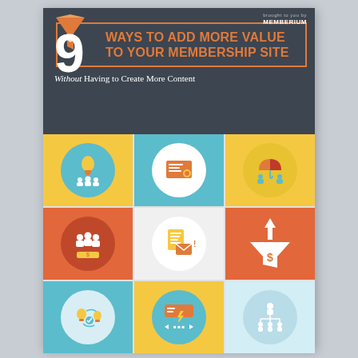brought to you by MEMBERIUM
9 WAYS TO ADD MORE VALUE TO YOUR MEMBERSHIP SITE
Without Having to Create More Content
[Figure (infographic): 3x3 grid of flat design icons representing 9 ways to add value: lightbulb/team (yellow), certificate (teal), umbrella/people (yellow), group/money (orange), document/email (white/light), funnel with dollar (orange), idea/workflow (teal), chat/lightning (yellow), org chart (teal)]